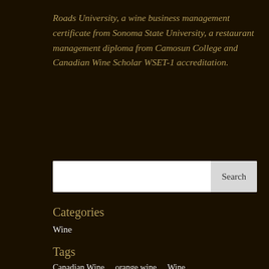Roads University, a wine business management certificate from Sonoma State University, a restaurant management diploma from Camosun College and Canadian Wine Scholar WSET-1 accreditation.
[Figure (other): Search bar with text input field and Search button]
Categories
Wine
Tags
Canadian Wine   orange wine   Wine